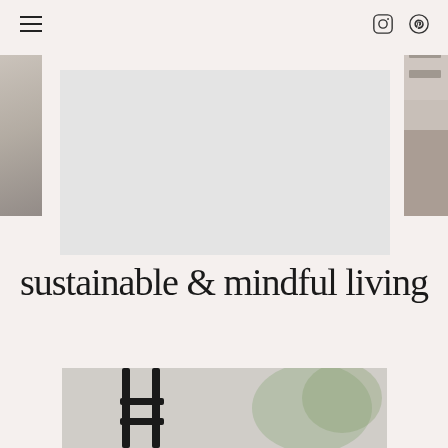Navigation bar with hamburger menu and social icons (Instagram, Pinterest)
[Figure (photo): Left partial photo of a white minimalist bedroom scene]
[Figure (photo): Center large light grey placeholder/image area]
[Figure (photo): Right partial photo of a wooden shelf/furniture with boxes]
sustainable & mindful living
[Figure (photo): Bottom partial photo of black metal furniture legs with blurred green plant background]